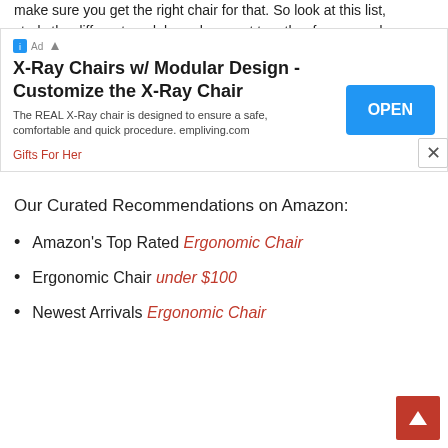make sure you get the right chair for that. So look at this list, study the different models we have put together for you and
[Figure (screenshot): Advertisement banner: X-Ray Chairs w/ Modular Design - Customize the X-Ray Chair. The REAL X-Ray chair is designed to ensure a safe, comfortable and quick procedure. empliving.com. Gifts For Her link. OPEN button.]
Our Curated Recommendations on Amazon:
Amazon's Top Rated Ergonomic Chair
Ergonomic Chair under $100
Newest Arrivals Ergonomic Chair